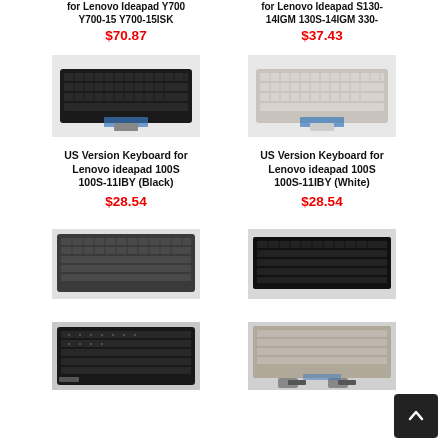for Lenovo Ideapad Y700 Y700-15 Y700-15ISK
$70.87
for Lenovo Ideapad S130-14IGM 130S-14IGM 330-
$37.43
[Figure (photo): Black laptop keyboard product photo]
[Figure (photo): White/silver laptop keyboard product photo]
US Version Keyboard for Lenovo ideapad 100S 100S-11IBY (Black)
$28.54
US Version Keyboard for Lenovo ideapad 100S 100S-11IBY (White)
$28.54
[Figure (photo): Dark gray laptop keyboard product photo]
[Figure (photo): Black laptop keyboard product photo]
[Figure (photo): Backlit laptop keyboard product photo (black)]
[Figure (photo): Laptop keyboard with stand product photo]